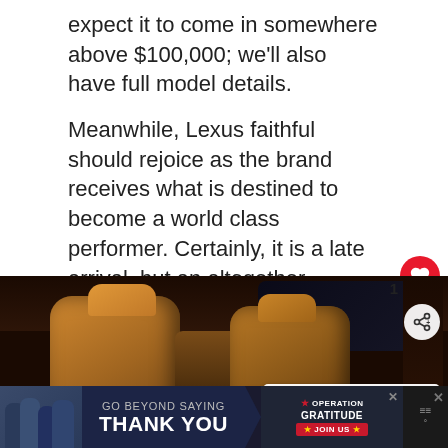expect it to come in somewhere above $100,000; we'll also have full model details.
Meanwhile, Lexus faithful should rejoice as the brand receives what is destined to become a world class performer. Certainly, it is a late arrival, but an altogether welcome one at that.
[Figure (photo): Interior photo of a Lexus vehicle showing tan/caramel leather seats and interior with dark background. An overlay shows a 'What's Next' teaser for 'Car Overheats When AC is...' with a thumbnail image and share/like buttons.]
[Figure (infographic): Advertisement banner for Operation Gratitude reading 'GO BEYOND SAYING THANK YOU' with Operation Gratitude logo and 'JOIN US' button on dark blue background.]